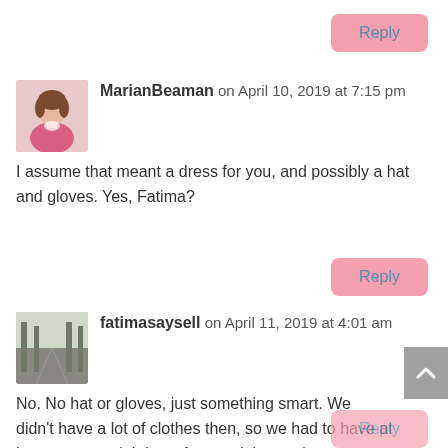Reply (button, top right)
MarianBeaman on April 10, 2019 at 7:15 pm
I assume that meant a dress for you, and possibly a hat and gloves. Yes, Fatima?
Reply (button)
fatimasaysell on April 11, 2019 at 4:01 am
No. No hat or gloves, just something smart. We didn't have a lot of clothes then, so we had to have at least one special dress for special occasions.
Reply (button, partial)